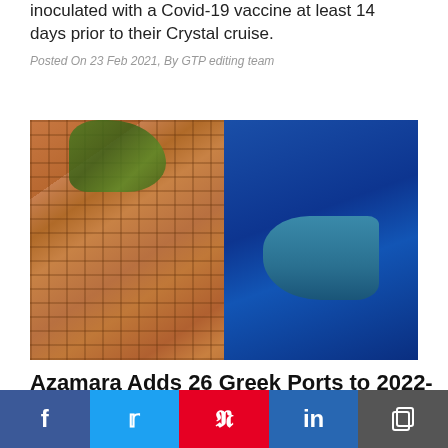inoculated with a Covid-19 vaccine at least 14 days prior to their Crystal cruise.
Posted On 23 Feb 2021, By GTP editing team
[Figure (photo): Aerial view of a Greek island town with terracotta rooftops and a marina/harbor with yachts, surrounded by deep blue sea water]
Azamara Adds 26 Greek Ports to 2022-2023
Social sharing bar with Facebook, Twitter, Pinterest, LinkedIn, and Copy icons